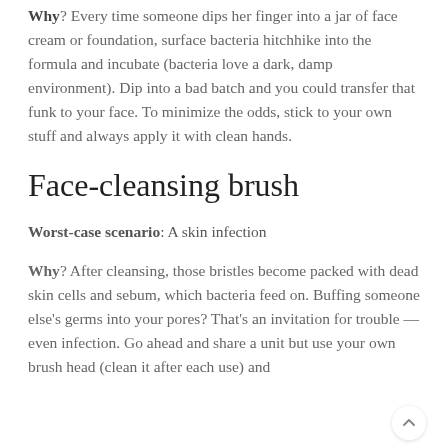Why? Every time someone dips her finger into a jar of face cream or foundation, surface bacteria hitchhike into the formula and incubate (bacteria love a dark, damp environment). Dip into a bad batch and you could transfer that funk to your face. To minimize the odds, stick to your own stuff and always apply it with clean hands.
Face-cleansing brush
Worst-case scenario: A skin infection
Why? After cleansing, those bristles become packed with dead skin cells and sebum, which bacteria feed on. Buffing someone else's germs into your pores? That's an invitation for trouble — even infection. Go ahead and share a unit but use your own brush head (clean it after each use) and